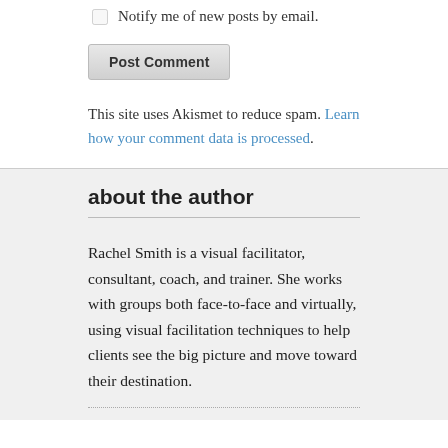Notify me of new posts by email.
Post Comment
This site uses Akismet to reduce spam. Learn how your comment data is processed.
about the author
Rachel Smith is a visual facilitator, consultant, coach, and trainer. She works with groups both face-to-face and virtually, using visual facilitation techniques to help clients see the big picture and move toward their destination.